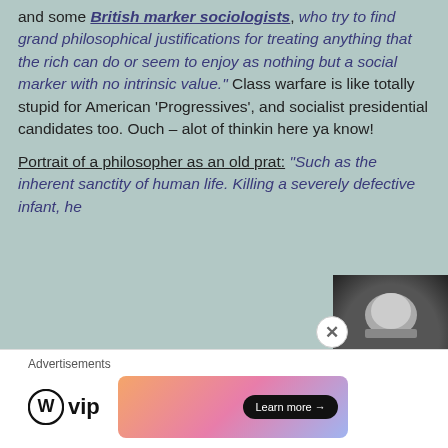and some British marker sociologists, who try to find grand philosophical justifications for treating anything that the rich can do or seem to enjoy as nothing but a social marker with no intrinsic value." Class warfare is like totally stupid for American 'Progressives', and socialist presidential candidates too. Ouch – alot of thinkin here ya know!
Portrait of a philosopher as an old prat: "Such as the inherent sanctity of human life. Killing a severely defective infant, he
[Figure (photo): Black and white photo thumbnail of a person's head/back of head]
Advertisements
[Figure (logo): WordPress VIP logo with circular W icon]
[Figure (other): Colorful gradient advertisement banner with 'Learn more' button]